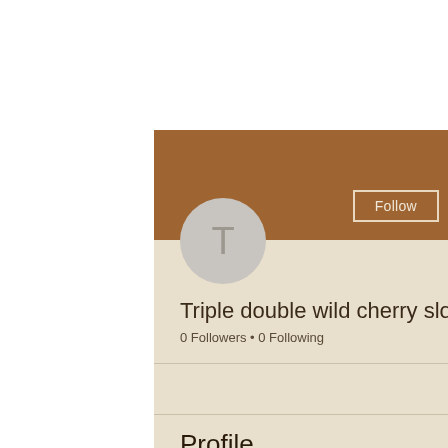[Figure (screenshot): User profile banner with brown/tan background color]
Follow
Triple double wild cherry slots
0 Followers • 0 Following
Profile